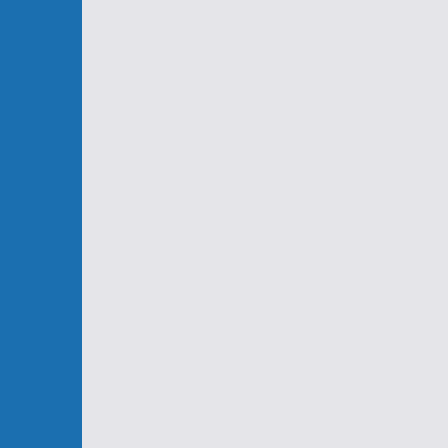clearly N, clearly T and are both quite confident socionics INTj is very impossible). I can't see primary function doesn
Edit: This guy ALWAYS always in a hurry even shouldn't be any hurry.
Does he still sound mo
for MBTI, you really can't judge since it's a draining feeling you you. you need time to recharge
i stand tall. i will argue a point, engage in dialog. but many see argue with me, because i always question theirs. many don't like
i will stand tall. i'm working on a trance. i don't have much of a point of it in the first place. if i s will be confident about somethi less people - i don't like to be t talk i usually take in too much s i've also notice that i concentrat